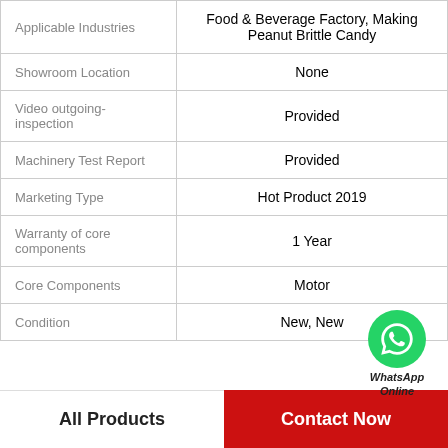| Property | Value |
| --- | --- |
| Applicable Industries | Food & Beverage Factory, Making Peanut Brittle Candy |
| Showroom Location | None |
| Video outgoing-inspection | Provided |
| Machinery Test Report | Provided |
| Marketing Type | Hot Product 2019 |
| Warranty of core components | 1 Year |
| Core Components | Motor |
| Condition | New, New |
[Figure (other): WhatsApp Online contact button with green phone icon]
All Products
Contact Now